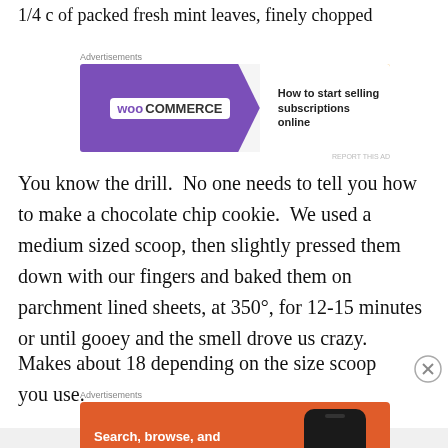1/4 c of packed fresh mint leaves, finely chopped
[Figure (other): WooCommerce advertisement banner: purple background with WooCommerce logo and text 'How to start selling subscriptions online']
You know the drill.  No one needs to tell you how to make a chocolate chip cookie.  We used a medium sized scoop, then slightly pressed them down with our fingers and baked them on parchment lined sheets, at 350°, for 12-15 minutes or until gooey and the smell drove us crazy.
Makes about 18 depending on the size scoop you use.
[Figure (other): DuckDuckGo advertisement: orange background with text 'Search, browse, and email with more privacy. All in One Free App' and a phone mockup showing DuckDuckGo logo]